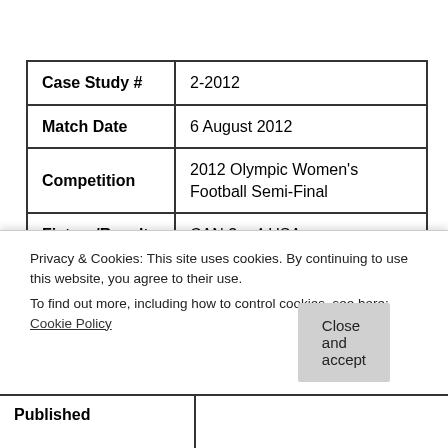| Field | Value |
| --- | --- |
| Case Study # | 2-2012 |
| Match Date | 6 August 2012 |
| Competition | 2012 Olympic Women's Football Semi-Final |
| Fixture/Result | CAN 3 – 4 USA |
| Referee/Badge | Christiana Pedersen, FIFA |
|  | Pedersen’s decision to |
| Published |  |
Privacy & Cookies: This site uses cookies. By continuing to use this website, you agree to their use.
To find out more, including how to control cookies, see here: Cookie Policy
Close and accept